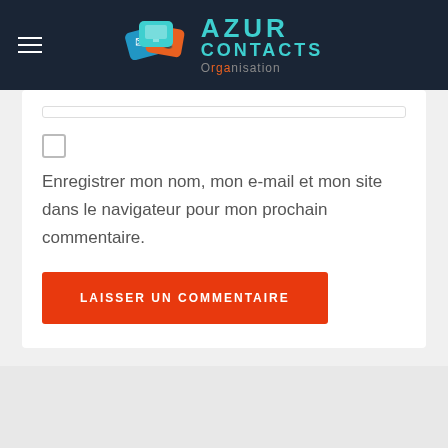Azur Contacts Organisation
Enregistrer mon nom, mon e-mail et mon site dans le navigateur pour mon prochain commentaire.
LAISSER UN COMMENTAIRE